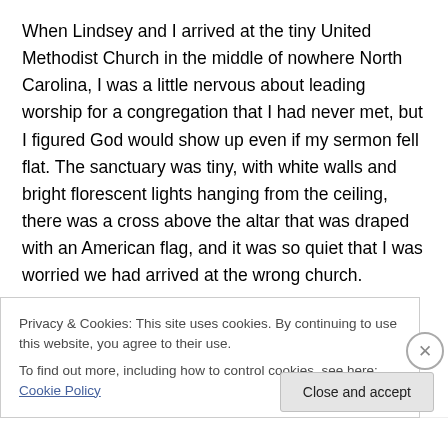When Lindsey and I arrived at the tiny United Methodist Church in the middle of nowhere North Carolina, I was a little nervous about leading worship for a congregation that I had never met, but I figured God would show up even if my sermon fell flat. The sanctuary was tiny, with white walls and bright florescent lights hanging from the ceiling, there was a cross above the altar that was draped with an American flag, and it was so quiet that I was worried we had arrived at the wrong church.
However, the lay leader was waiting by the door and
Privacy & Cookies: This site uses cookies. By continuing to use this website, you agree to their use.
To find out more, including how to control cookies, see here: Cookie Policy
Close and accept